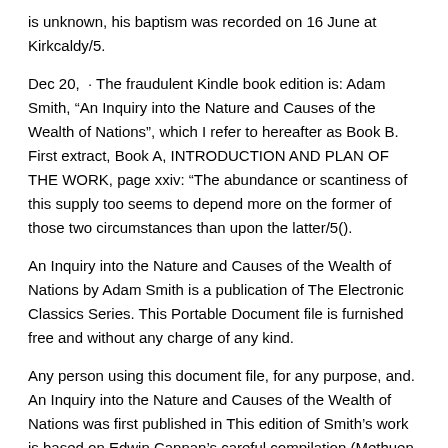is unknown, his baptism was recorded on 16 June at Kirkcaldy/5.
Dec 20,  · The fraudulent Kindle book edition is: Adam Smith, “An Inquiry into the Nature and Causes of the Wealth of Nations”, which I refer to hereafter as Book B. First extract, Book A, INTRODUCTION AND PLAN OF THE WORK, page xxiv: “The abundance or scantiness of this supply too seems to depend more on the former of those two circumstances than upon the latter/5().
An Inquiry into the Nature and Causes of the Wealth of Nations by Adam Smith is a publication of The Electronic Classics Series. This Portable Document file is furnished free and without any charge of any kind.
Any person using this document file, for any purpose, and. An Inquiry into the Nature and Causes of the Wealth of Nations was first published in This edition of Smith’s work is based on Edwin Cannan’s careful compilation (Methuen and Co., Ltd) of Smith’s fifth edition of the book (), the final edition in Smith’s lifetime.
Cannan’s preface and introductory remarks are presented below. Jun